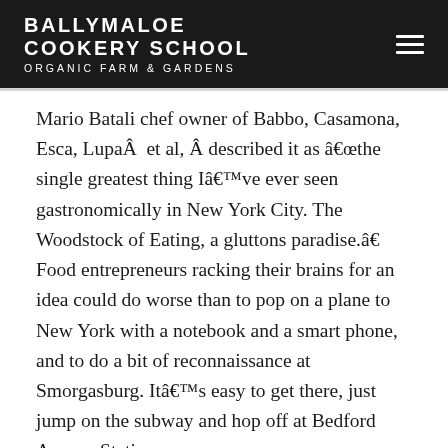BALLYMALOE COOKERY SCHOOL ORGANIC FARM & GARDENS
Mario Batali chef owner of Babbo, Casamona, Esca, LupaÂ et al, Â described it as â€œthe single greatest thing Iâ€™ve ever seen gastronomically in New York City. The Woodstock of Eating, a gluttons paradise.â€  Food entrepreneurs racking their brains for an idea could do worse than to pop on a plane to New York with a notebook and a smart phone, and to do a bit of reconnaissance at Smorgasburg. Itâ€™s easy to get there, just jump on the subway and hop off at Bedford Avenue Station.